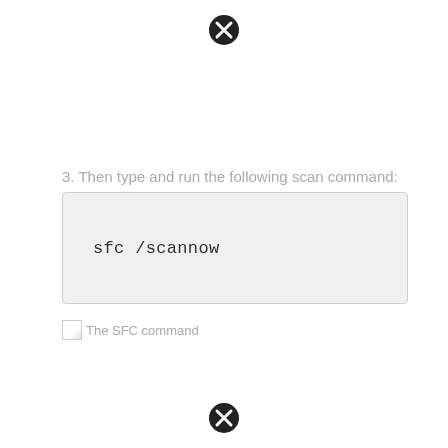[Figure (other): Navigation close/back icon at top center of page]
3. Then type and run the following scan command:
sfc /scannow
The SFC command
[Figure (other): Navigation close/back icon at bottom center of page]